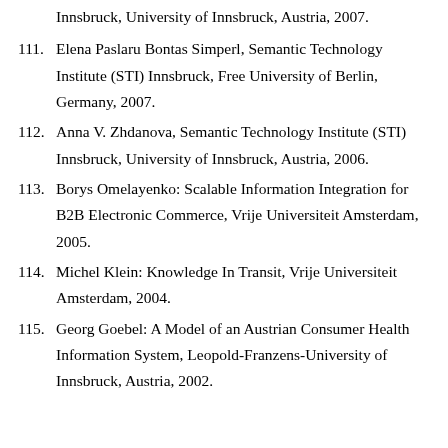Innsbruck, University of Innsbruck, Austria, 2007.
111. Elena Paslaru Bontas Simperl, Semantic Technology Institute (STI) Innsbruck, Free University of Berlin, Germany, 2007.
112. Anna V. Zhdanova, Semantic Technology Institute (STI) Innsbruck, University of Innsbruck, Austria, 2006.
113. Borys Omelayenko: Scalable Information Integration for B2B Electronic Commerce, Vrije Universiteit Amsterdam, 2005.
114. Michel Klein: Knowledge In Transit, Vrije Universiteit Amsterdam, 2004.
115. Georg Goebel: A Model of an Austrian Consumer Health Information System, Leopold-Franzens-University of Innsbruck, Austria, 2002.